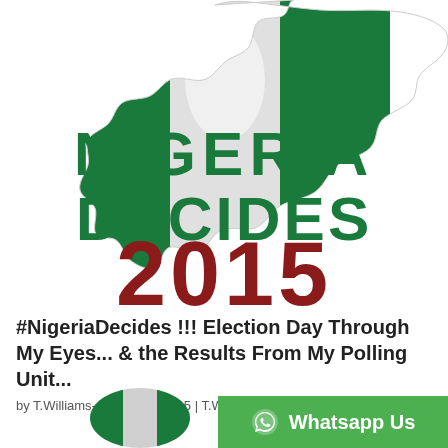[Figure (illustration): Nigeria map silhouette overlaid with the Nigerian flag (green-white-green), with large bold green text 'NIGERIA DECIDES' and large dark red text '2015' below it, on a white background.]
#NigeriaDecides !!! Election Day Through My Eyes... & the Results From My Polling Unit...
by T.Williams-A | Mar 28, 2015 | T.Williams-A
[Figure (illustration): Small Nigeria map silhouette with Nigerian flag, partially visible at bottom left.]
Whatsapp Us